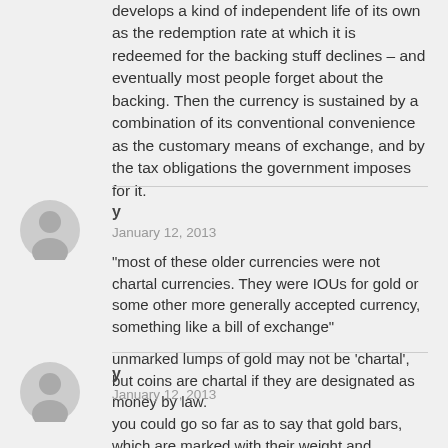develops a kind of independent life of its own as the redemption rate at which it is redeemed for the backing stuff declines – and eventually most people forget about the backing. Then the currency is sustained by a combination of its conventional convenience as the customary means of exchange, and by the tax obligations the government imposes for it.
y
January 12, 2013

"most of these older currencies were not chartal currencies. They were IOUs for gold or some other more generally accepted currency, something like a bill of exchange"

unmarked lumps of gold may not be 'chartal', but coins are chartal if they are designated as money by law.
y
January 12, 2013

you could go so far as to say that gold bars, which are marked with their weight and